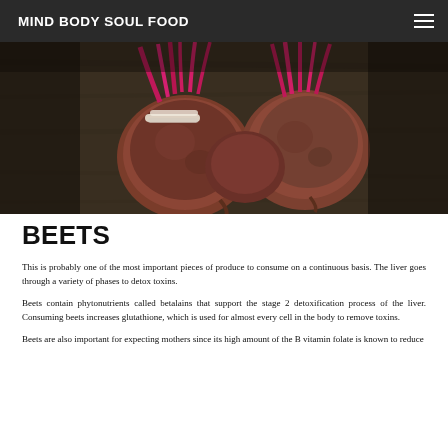MIND BODY SOUL FOOD
[Figure (photo): Close-up photo of fresh beets with bright pink/magenta stems and roots, placed on a rustic wooden surface with dark background overlay]
BEETS
This is probably one of the most important pieces of produce to consume on a continuous basis. The liver goes through a variety of phases to detox toxins.
Beets contain phytonutrients called betalains that support the stage 2 detoxification process of the liver. Consuming beets increases glutathione, which is used for almost every cell in the body to remove toxins.
Beets are also important for expecting mothers since its high amount of the B vitamin folate is known to reduce